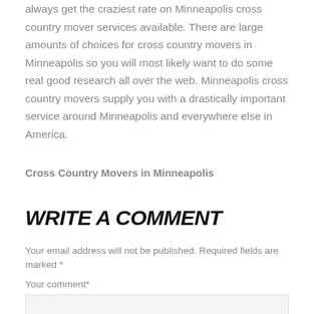always get the craziest rate on Minneapolis cross country mover services available. There are large amounts of choices for cross country movers in Minneapolis so you will most likely want to do some real good research all over the web. Minneapolis cross country movers supply you with a drastically important service around Minneapolis and everywhere else in America.
Cross Country Movers in Minneapolis
WRITE A COMMENT
Your email address will not be published. Required fields are marked *
Your comment*